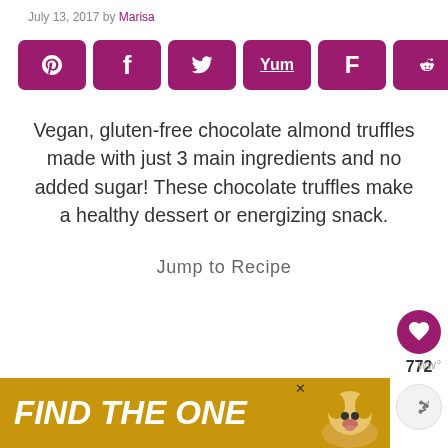July 13, 2017 by Marisa
[Figure (infographic): Social share buttons row: Pinterest, Facebook, Twitter, Yummly, Flipboard, Reddit icons in magenta rounded squares, followed by share count showing 737 SHARES]
Vegan, gluten-free chocolate almond truffles made with just 3 main ingredients and no added sugar! These chocolate truffles make a healthy dessert or energizing snack.
Jump to Recipe
[Figure (infographic): Right sidebar with heart/like button (magenta circle, heart icon), count 772, and share button (grey circle)]
[Figure (infographic): Advertisement banner: yellow/gold background with bold italic white text 'FIND THE ONE' and a dog image]